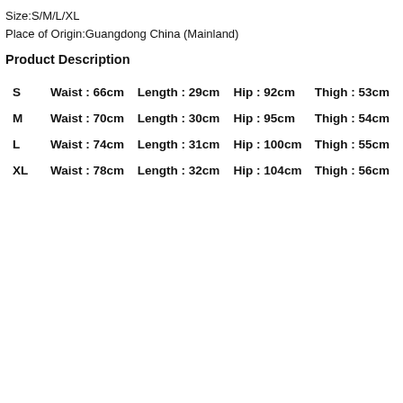Size:S/M/L/XL
Place of Origin:Guangdong China (Mainland)
Product Description
| Size | Waist | Length | Hip | Thigh |
| --- | --- | --- | --- | --- |
| S | Waist : 66cm | Length : 29cm | Hip : 92cm | Thigh : 53cm |
| M | Waist : 70cm | Length : 30cm | Hip : 95cm | Thigh : 54cm |
| L | Waist : 74cm | Length : 31cm | Hip : 100cm | Thigh : 55cm |
| XL | Waist : 78cm | Length : 32cm | Hip : 104cm | Thigh : 56cm |